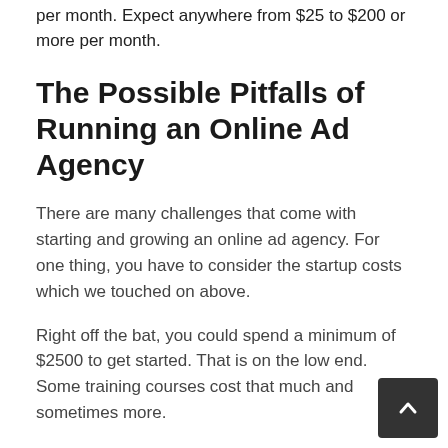per month. Expect anywhere from $25 to $200 or more per month.
The Possible Pitfalls of Running an Online Ad Agency
There are many challenges that come with starting and growing an online ad agency. For one thing, you have to consider the startup costs which we touched on above.
Right off the bat, you could spend a minimum of $2500 to get started. That is on the low end. Some training courses cost that much and sometimes more.